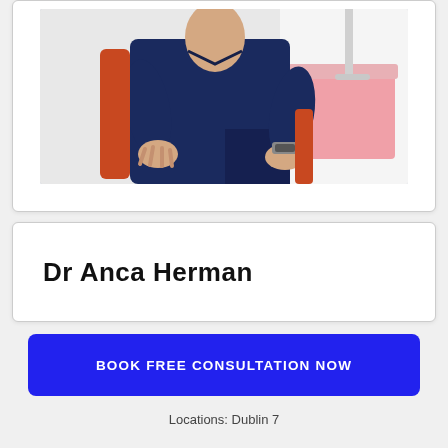[Figure (photo): Photo of Dr Anca Herman, a doctor in dark navy scrubs sitting in a dental chair in a dental clinic, with dental equipment visible to the right and an orange chair visible]
Dr Anca Herman
BOOK FREE CONSULTATION NOW
Locations: Dublin 7